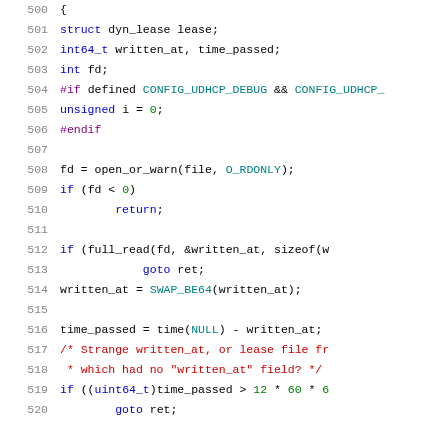500  {
501      struct dyn_lease lease;
502      int64_t written_at, time_passed;
503      int fd;
504  #if defined CONFIG_UDHCP_DEBUG && CONFIG_UDHCP_
505      unsigned i = 0;
506  #endif
507  
508      fd = open_or_warn(file, O_RDONLY);
509      if (fd < 0)
510              return;
511  
512      if (full_read(fd, &written_at, sizeof(w
513              goto ret;
514      written_at = SWAP_BE64(written_at);
515  
516      time_passed = time(NULL) - written_at;
517      /* Strange written_at, or lease file fr
518       * which had no "written_at" field? */
519      if ((uint64_t)time_passed > 12 * 60 * 6
520              goto ret;